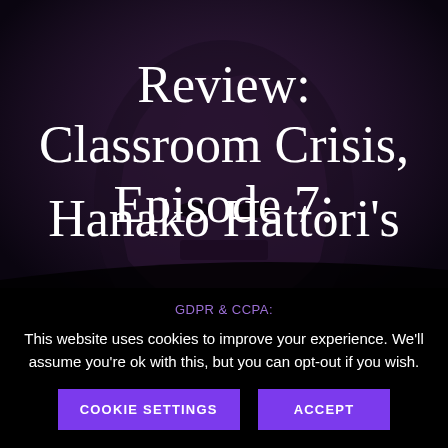[Figure (illustration): Dark anime screenshot background showing a character with dark hair and dramatic lighting, used as background for a review article title]
Review: Classroom Crisis, Episode 7: Hanako Hattori's
GDPR & CCPA:
This website uses cookies to improve your experience. We'll assume you're ok with this, but you can opt-out if you wish.
COOKIE SETTINGS
ACCEPT